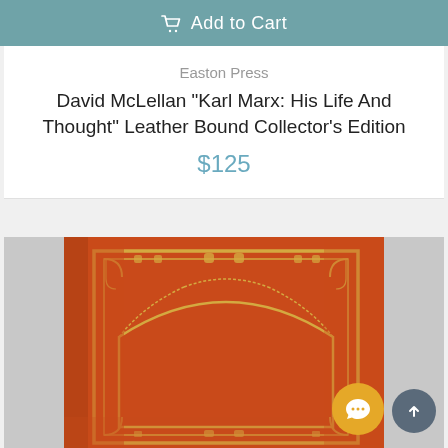Add to Cart
Easton Press
David McLellan "Karl Marx: His Life And Thought" Leather Bound Collector's Edition
$125
[Figure (photo): Close-up photo of a red/orange leather bound book with ornate gold decorative border and arch design on the cover, partially blurred.]